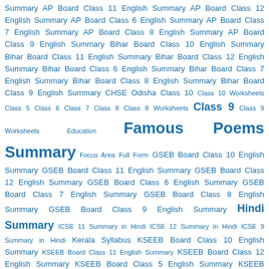Summary AP Board Class 11 English Summary AP Board Class 12 English Summary AP Board Class 6 English Summary AP Board Class 7 English Summary AP Board Class 8 English Summary AP Board Class 9 English Summary Bihar Board Class 10 English Summary Bihar Board Class 11 English Summary Bihar Board Class 12 English Summary Bihar Board Class 6 English Summary Bihar Board Class 7 English Summary Bihar Board Class 8 English Summary Bihar Board Class 9 English Summary CHSE Odisha Class 10 Class 10 Worksheets Class 5 Class 6 Class 7 Class 8 Class 8 Worksheets Class 9 Class 9 Worksheets Education Famous Poems Summary Focus Area Full Form GSEB Board Class 10 English Summary GSEB Board Class 11 English Summary GSEB Board Class 12 English Summary GSEB Board Class 6 English Summary GSEB Board Class 7 English Summary GSEB Board Class 8 English Summary GSEB Board Class 9 English Summary Hindi Summary ICSE 11 Summary in Hindi ICSE 12 Summary in Hindi ICSE 9 Summary in Hindi Kerala Syllabus KSEEB Board Class 10 English Summary KSEEB Board Class 11 English Summary KSEEB Board Class 12 English Summary KSEEB Board Class 5 English Summary KSEEB Board Class 6 English Summary KSEEB Board Class 7 English Summary KSEEB Board Class 8 English Summary KSEEB Board Class 9 English Summary Maha 10 Summary in Hindi Maha 11 Summary in Hindi Maha 12 Summary in Hindi Maha 5 Summary in Hindi Maha 6 Summary in Hindi Maha 7 Summary in Hindi Maha 8 Summary in Hindi Maha 9 Summary in Hindi